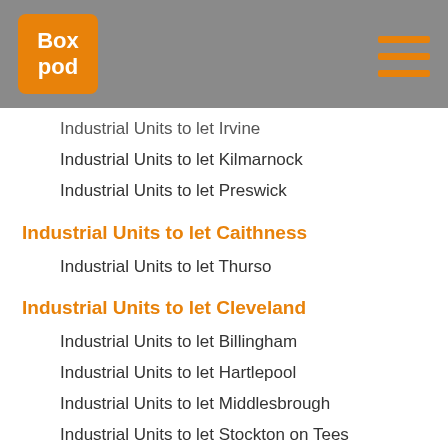BoxPod
Industrial Units to let Irvine
Industrial Units to let Kilmarnock
Industrial Units to let Preswick
Industrial Units to let Caithness
Industrial Units to let Thurso
Industrial Units to let Cleveland
Industrial Units to let Billingham
Industrial Units to let Hartlepool
Industrial Units to let Middlesbrough
Industrial Units to let Stockton on Tees
Industrial Units to let Stockton-on-Tees
Industrial Units to let Dumfries and Galloway